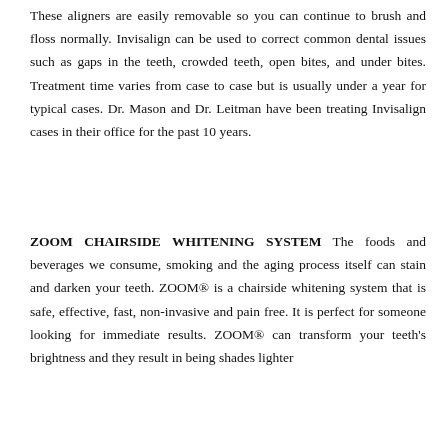These aligners are easily removable so you can continue to brush and floss normally. Invisalign can be used to correct common dental issues such as gaps in the teeth, crowded teeth, open bites, and under bites. Treatment time varies from case to case but is usually under a year for typical cases. Dr. Mason and Dr. Leitman have been treating Invisalign cases in their office for the past 10 years.
ZOOM CHAIRSIDE WHITENING SYSTEM The foods and beverages we consume, smoking and the aging process itself can stain and darken your teeth. ZOOM® is a chairside whitening system that is safe, effective, fast, non-invasive and pain free. It is perfect for someone looking for immediate results. ZOOM® can transform your teeth's brightness and they result in being shades lighter